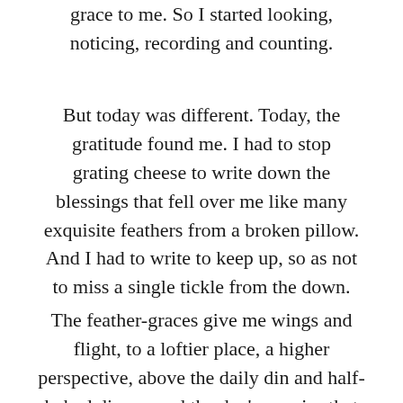grace to me. So I started looking, noticing, recording and counting.
But today was different. Today, the gratitude found me. I had to stop grating cheese to write down the blessings that fell over me like many exquisite feathers from a broken pillow. And I had to write to keep up, so as not to miss a single tickle from the down.
The feather-graces give me wings and flight, to a loftier place, a higher perspective, above the daily din and half-baked dinner, and the day's worries that weigh down so. I can see how this could be addictive, and how I'd want to always